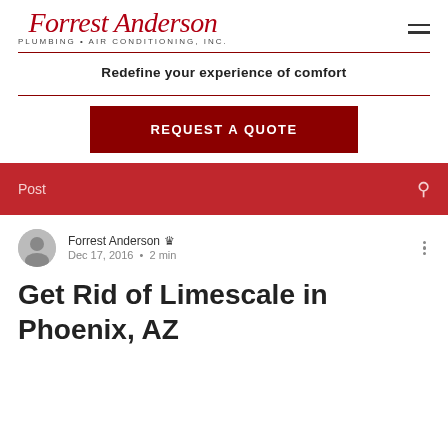Forrest Anderson Plumbing • Air Conditioning, Inc.
Redefine your experience of comfort
REQUEST A QUOTE
Post
Forrest Anderson Admin
Dec 17, 2016  •  2 min
Get Rid of Limescale in Phoenix, AZ